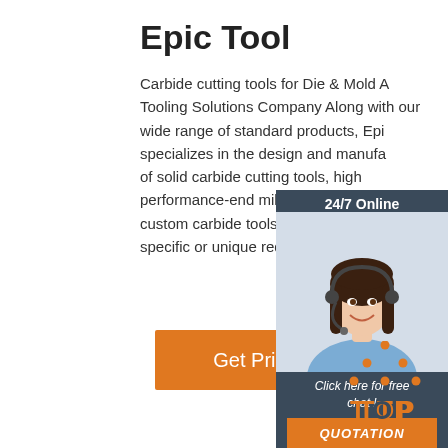Epic Tool
Carbide cutting tools for Die & Mold A Tooling Solutions Company Along with our wide range of standard products, Epi specializes in the design and manufa of solid carbide cutting tools, high performance-end mills, drills, reamer custom carbide tools for clients with specific or unique requirements.
[Figure (other): Orange 'Get Price' button]
[Figure (infographic): 24/7 Online chat widget with woman wearing headset, dark blue panel with 'Click here for free chat!' text and orange QUOTATION button]
[Figure (logo): Orange and dark TOP logo with dotted triangle above the word TOP]